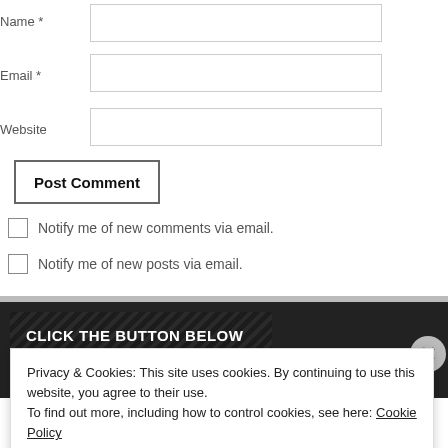Name *
Email *
Website
Post Comment
Notify me of new comments via email.
Notify me of new posts via email.
CLICK THE BUTTON BELOW TO RECEIVE THESE RECIPES BY EMAIL
Privacy & Cookies: This site uses cookies. By continuing to use this website, you agree to their use.
To find out more, including how to control cookies, see here: Cookie Policy
Close and accept